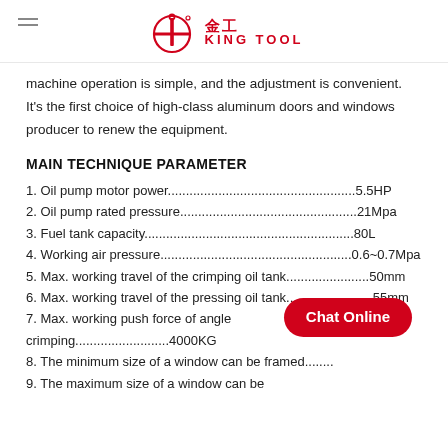KING TOOL
machine operation is simple, and the adjustment is convenient. It's the first choice of high-class aluminum doors and windows producer to renew the equipment.
MAIN TECHNIQUE PARAMETER
1. Oil pump motor power.....................................................5.5HP
2. Oil pump rated pressure..................................................21Mpa
3. Fuel tank capacity...........................................................80L
4. Working air pressure........................................................0.6~0.7Mpa
5. Max. working travel of the crimping oil tank............................50mm
6. Max. working travel of the pressing oil tank............................55mm
7. Max. working push force of angle crimping...............................4000KG
8. The minimum size of a window can be framed.......
9. The maximum size of a window can be